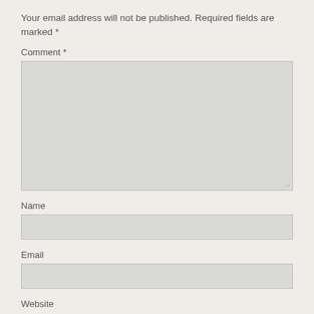Your email address will not be published. Required fields are marked *
Comment *
[Figure (other): Large comment textarea input box with resize handle at bottom right]
Name
[Figure (other): Single-line text input box for Name]
Email
[Figure (other): Single-line text input box for Email]
Website